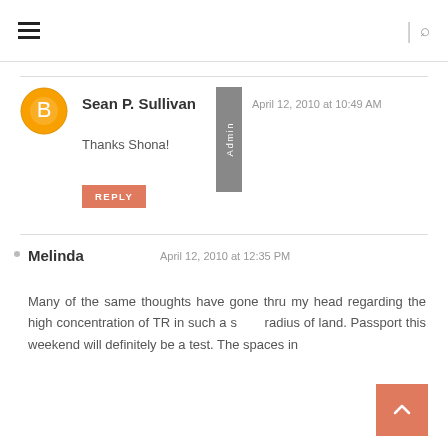≡  |  🔍
Sean P. Sullivan
April 12, 2010 at 10:49 AM
Thanks Shona!
REPLY
Melinda
April 12, 2010 at 12:35 PM
Many of the same thoughts have gone thru my head regarding the high concentration of TR in such a small radius of land. Passport this weekend will definitely be a test. The spaces in